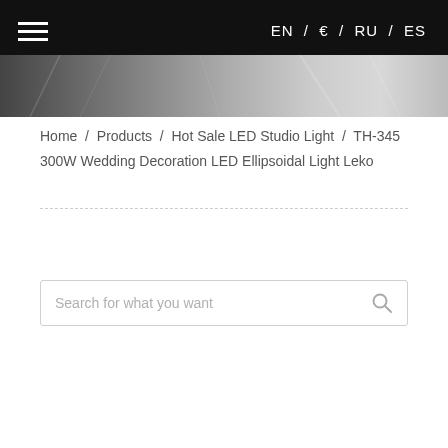EN / 中 / RU / ES
[Figure (photo): Dark header banner with blurred studio lighting equipment in grayscale]
Home / Products / Hot Sale LED Studio Light / TH-345 300W Wedding Decoration LED Ellipsoidal Light Leko
Search for what you want